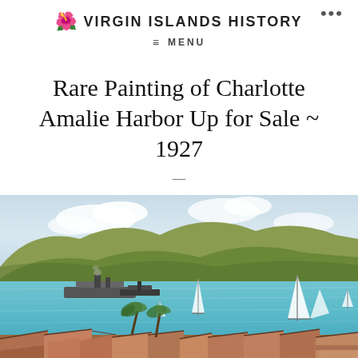🌺 VIRGIN ISLANDS HISTORY
≡ MENU
Rare Painting of Charlotte Amalie Harbor Up for Sale ~ 1927
[Figure (illustration): A painting depicting Charlotte Amalie Harbor circa 1927, showing sailboats and a steamship on turquoise waters, green hills in the background, and colorful rooftops with palm trees in the foreground.]